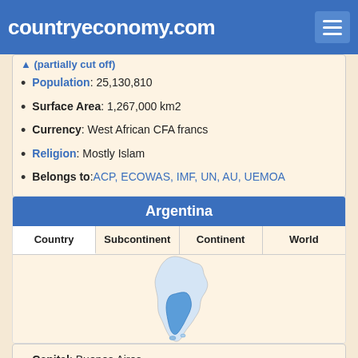countryeconomy.com
Population: 25,130,810
Surface Area: 1,267,000 km2
Currency: West African CFA francs
Religion: Mostly Islam
Belongs to: ACP, ECOWAS, IMF, UN, AU, UEMOA
Argentina
| Country | Subcontinent | Continent | World |
| --- | --- | --- | --- |
[Figure (map): Map showing Argentina highlighted in blue on South America]
Capital: Buenos Aires
Population: 45,808,747
Surface Area: 2,780,400 km2
Currency: Argentinian pesos (1 EUR=91.5953 ARS)